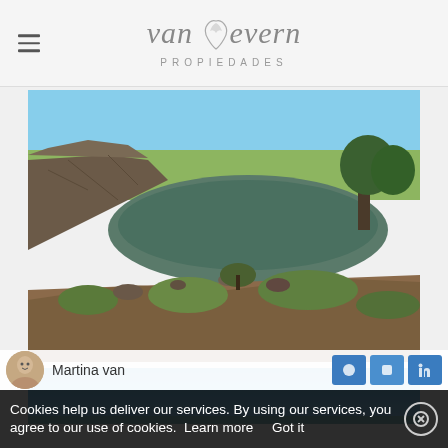van Bevern PROPIEDADES
[Figure (photo): Quarry lake landscape with rocky cliffs, green vegetation, and farmland in the background under blue sky]
[Figure (photo): Partial view of blue sky with open landscape]
Martina van
Cookies help us deliver our services. By using our services, you agree to our use of cookies.  Learn more     Got it